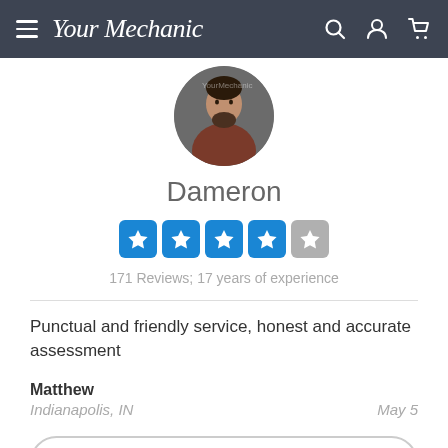YourMechanic
[Figure (photo): Profile photo of mechanic Dameron, a man with a beard wearing a hoodie, shown in a circular crop.]
Dameron
[Figure (other): 4.5 out of 5 stars rating shown as five blue star boxes (4 full blue, 1 half grey)]
171 Reviews; 17 years of experience
Punctual and friendly service, honest and accurate assessment
Matthew
Indianapolis, IN
May 5
SEE MECHANIC PROFILE